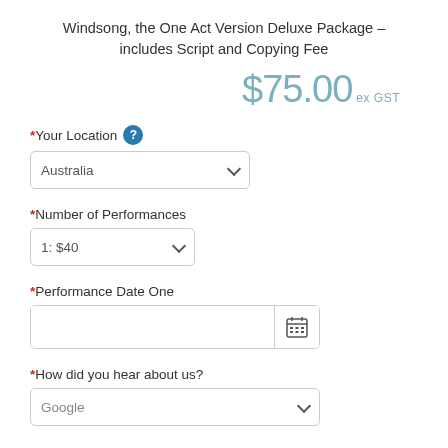Windsong, the One Act Version Deluxe Package – includes Script and Copying Fee
$75.00 ex GST
*Your Location
Australia (dropdown)
*Number of Performances
1: $40 (dropdown)
*Performance Date One
(date input with calendar icon)
*How did you hear about us?
Google (dropdown)